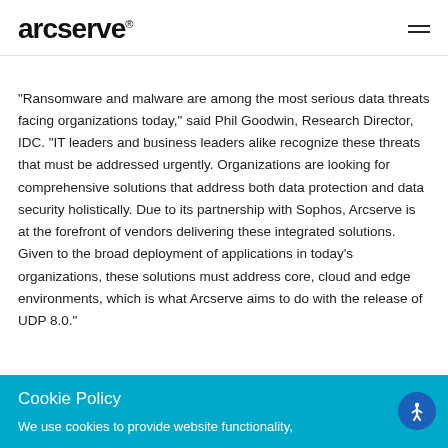arcserve
“Ransomware and malware are among the most serious data threats facing organizations today,” said Phil Goodwin, Research Director, IDC. “IT leaders and business leaders alike recognize these threats that must be addressed urgently. Organizations are looking for comprehensive solutions that address both data protection and data security holistically. Due to its partnership with Sophos, Arcserve is at the forefront of vendors delivering these integrated solutions. Given to the broad deployment of applications in today’s organizations, these solutions must address core, cloud and edge environments, which is what Arcserve aims to do with the release of UDP 8.0.”
Cookie Policy
We use cookies to provide website functionality,